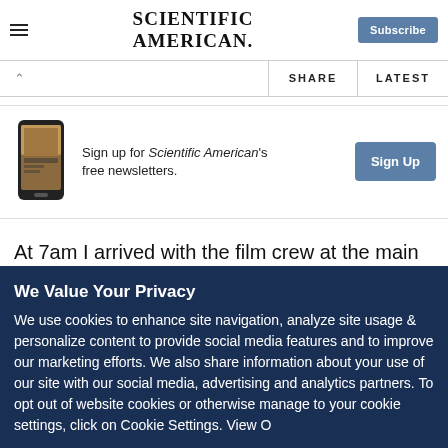Scientific American — Subscribe
SHARE | LATEST
[Figure (screenshot): Scientific American newsletter signup banner with phone image, text, and Sign Up button]
At 7am I arrived with the film crew at the main dock. As is typical, armed Nicaraguan military troops checked our paperwork, inspected our equipment and later in with little
We Value Your Privacy
We use cookies to enhance site navigation, analyze site usage & personalize content to provide social media features and to improve our marketing efforts. We also share information about your use of our site with our social media, advertising and analytics partners. To opt out of website cookies or otherwise manage to your cookie settings, click on Cookie Settings. View O